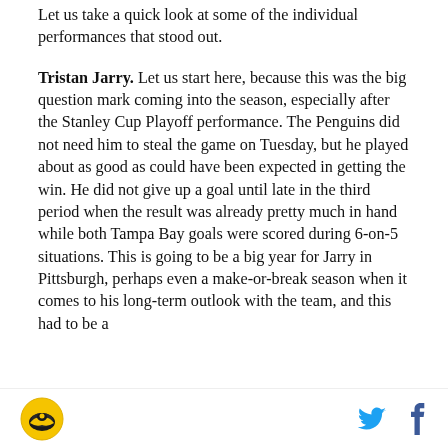Let us take a quick look at some of the individual performances that stood out.
Tristan Jarry. Let us start here, because this was the big question mark coming into the season, especially after the Stanley Cup Playoff performance. The Penguins did not need him to steal the game on Tuesday, but he played about as good as could have been expected in getting the win. He did not give up a goal until late in the third period when the result was already pretty much in hand while both Tampa Bay goals were scored during 6-on-5 situations. This is going to be a big year for Jarry in Pittsburgh, perhaps even a make-or-break season when it comes to his long-term outlook with the team, and this had to be a
[logo] [twitter] [facebook]